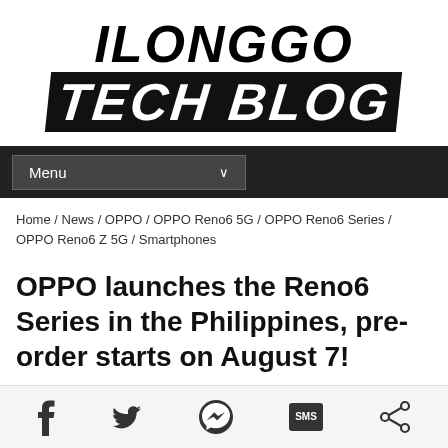[Figure (logo): Ilonggo Tech Blog logo with italic bold text, 'ILONGGO' on top and 'TECH BLOG' on black banner below]
Menu
Home / News / OPPO / OPPO Reno6 5G / OPPO Reno6 Series / OPPO Reno6 Z 5G / Smartphones
OPPO launches the Reno6 Series in the Philippines, pre-order starts on August 7!
Posted by Adrian Patrick Gemora  -  August 06, 2021
[Figure (other): Social sharing bar with Facebook, Twitter, Messenger, SMS, and Share icons]